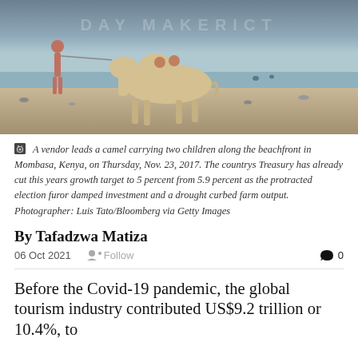[Figure (photo): A person leading a camel along a beach waterfront. Watermark text visible in background.]
A vendor leads a camel carrying two children along the beachfront in Mombasa, Kenya, on Thursday, Nov. 23, 2017. The countrys Treasury has already cut this years growth target to 5 percent from 5.9 percent as the protracted election furor damped investment and a drought curbed farm output. Photographer: Luis Tato/Bloomberg via Getty Images
By Tafadzwa Matiza
06 Oct 2021   Follow   0
Before the Covid-19 pandemic, the global tourism industry contributed US$9.2 trillion or 10.4%, to